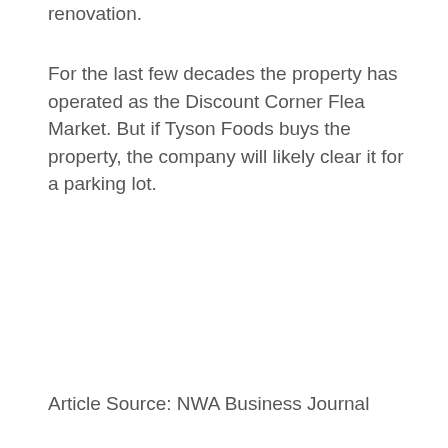renovation.
For the last few decades the property has operated as the Discount Corner Flea Market. But if Tyson Foods buys the property, the company will likely clear it for a parking lot.
Article Source: NWA Business Journal